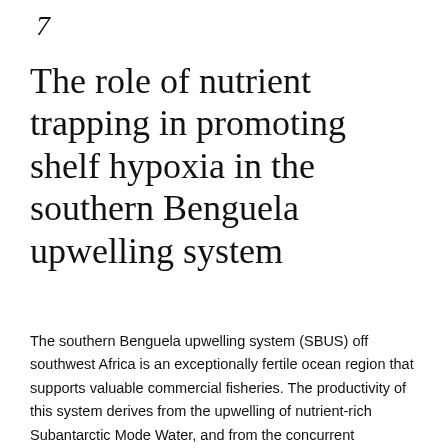7
The role of nutrient trapping in promoting shelf hypoxia in the southern Benguela upwelling system
The southern Benguela upwelling system (SBUS) off southwest Africa is an exceptionally fertile ocean region that supports valuable commercial fisheries. The productivity of this system derives from the upwelling of nutrient-rich Subantarctic Mode Water, and from the concurrent entrainment of nutrients regenerated